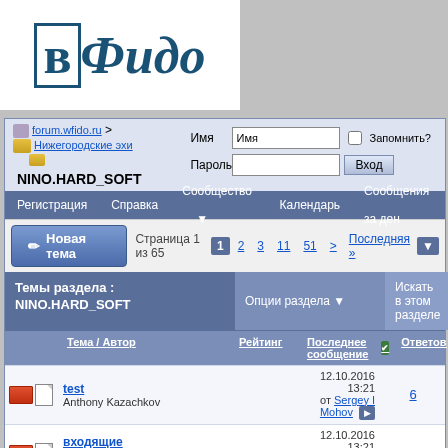[Figure (logo): ВФидо logo with Cyrillic text in blue serif font]
|  | Имя / Пароль / Вход |  |
| --- | --- | --- |
| forum.wfido.ru > Нижегородские эхи | Имя: [Имя] □ Запомнить? |  |
| NINO.HARD_SOFT | Пароль: [] [Вход] |  |
Регистрация  Справка  Сообщество ▼  Календарь  Сообщения за ден
Темы раздела : NINO.HARD_SOFT  |  Опции раздела ▼  |  Искать в этом разделе
|  | Тема / Автор | Рейтинг | Последнее сообщение | Ответов |
| --- | --- | --- | --- | --- |
| [icons] | test
Anthony Kazachkov |  | 12.10.2016 13:21
от Sergey I Mohov ▶ | 6 |
| [icons] | входящие ( 1 2 3)
Alexey Haritonov |  | 12.10.2016 13:21
от Ilya Breikin ▶ | 28 |
| [icons] | Полупроводниковый завод в Нижнем Новгороде?...
Alexey Harito |  | 12.10.2016 13:21
от Alexey Haritonov ▶ | 0 |